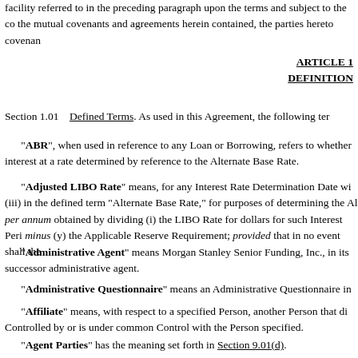facility referred to in the preceding paragraph upon the terms and subject to the co the mutual covenants and agreements herein contained, the parties hereto covenan
ARTICLE 1
DEFINITION
Section 1.01    Defined Terms. As used in this Agreement, the following ter
"ABR", when used in reference to any Loan or Borrowing, refers to whether interest at a rate determined by reference to the Alternate Base Rate.
"Adjusted LIBO Rate" means, for any Interest Rate Determination Date wi (iii) in the defined term "Alternate Base Rate," for purposes of determining the Al per annum obtained by dividing (i) the LIBO Rate for dollars for such Interest Peri minus (y) the Applicable Reserve Requirement; provided that in no event shall the
"Administrative Agent" means Morgan Stanley Senior Funding, Inc., in its successor administrative agent.
"Administrative Questionnaire" means an Administrative Questionnaire in
"Affiliate" means, with respect to a specified Person, another Person that di Controlled by or is under common Control with the Person specified.
"Agent Parties" has the meaning set forth in Section 9.01(d).
"Agents" means, collectively, the Administrative Agent and the Arrangers.